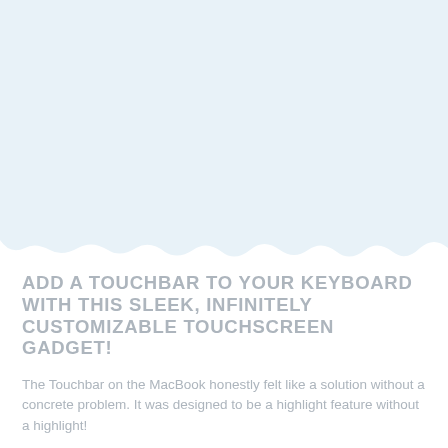[Figure (illustration): Light blue speech bubble or image placeholder area with a white jagged/cloud-like bottom edge suggesting a speech bubble tail pointing downward]
ADD A TOUCHBAR TO YOUR KEYBOARD WITH THIS SLEEK, INFINITELY CUSTOMIZABLE TOUCHSCREEN GADGET!
The Touchbar on the MacBook honestly felt like a solution without a concrete problem. It was designed to be a highlight feature without a highlight!